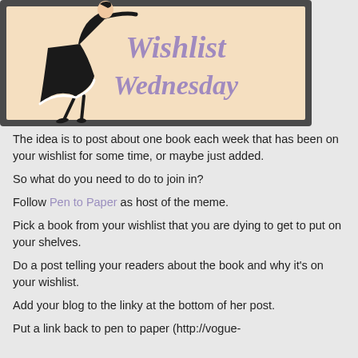[Figure (illustration): Wishlist Wednesday banner with an Art Deco style illustration of a woman in a black dress leaning forward, on a peach/beige background with dark grey border. Text reads 'Wishlist Wednesday' in purple italic script.]
The idea is to post about one book each week that has been on your wishlist for some time, or maybe just added.
So what do you need to do to join in?
Follow Pen to Paper as host of the meme.
Pick a book from your wishlist that you are dying to get to put on your shelves.
Do a post telling your readers about the book and why it's on your wishlist.
Add your blog to the linky at the bottom of her post.
Put a link back to pen to paper (http://vogue-